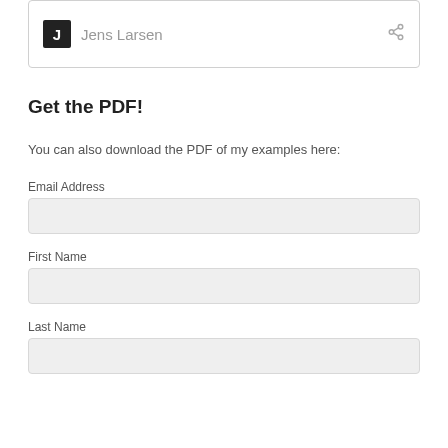Jens Larsen
Get the PDF!
You can also download the PDF of my examples here:
Email Address
First Name
Last Name